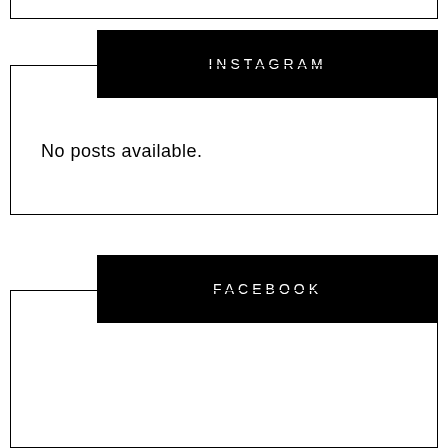INSTAGRAM
No posts available.
FACEBOOK